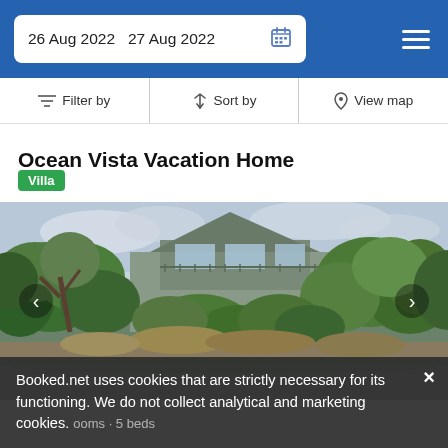26 Aug 2022  27 Aug 2022
Filter by  Sort by  View map
Ocean Vista Vacation Home
Villa
[Figure (photo): Exterior photo of Ocean Vista Vacation Home showing a large house surrounded by dense lush green trees and shrubs, with a road in the foreground under a cloudy sky.]
Booked.net uses cookies that are strictly necessary for its functioning. We do not collect analytical and marketing cookies.